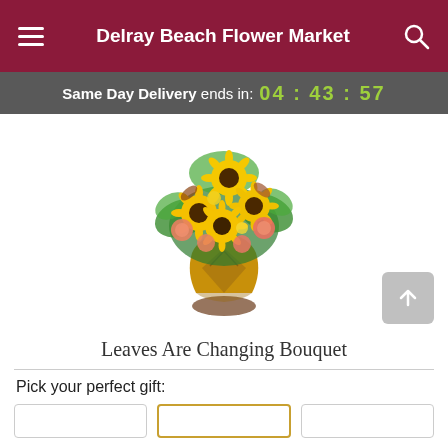Delray Beach Flower Market
Same Day Delivery ends in: 04 : 43 : 57
[Figure (photo): Autumn flower bouquet with sunflowers, peach carnations, and greenery in a golden vase, arranged as a fall bouquet called Leaves Are Changing Bouquet]
Leaves Are Changing Bouquet
Pick your perfect gift: